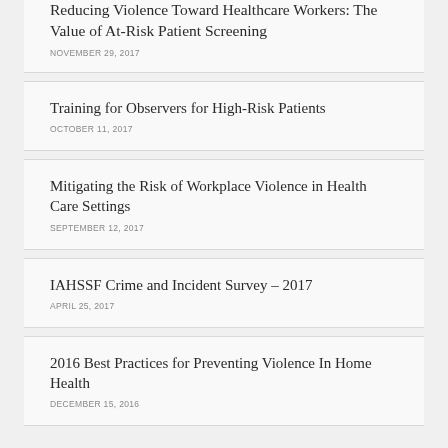Reducing Violence Toward Healthcare Workers: The Value of At-Risk Patient Screening
NOVEMBER 29, 2017
Training for Observers for High-Risk Patients
OCTOBER 11, 2017
Mitigating the Risk of Workplace Violence in Health Care Settings
SEPTEMBER 12, 2017
IAHSSF Crime and Incident Survey – 2017
APRIL 25, 2017
2016 Best Practices for Preventing Violence In Home Health
DECEMBER 15, 2016